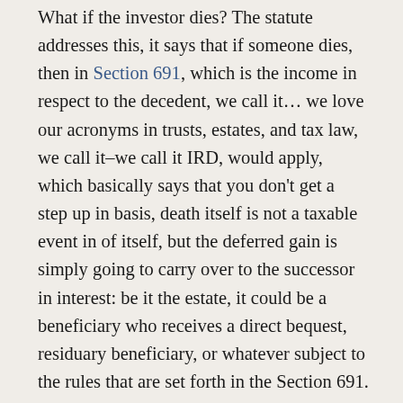What if the investor dies? The statute addresses this, it says that if someone dies, then in Section 691, which is the income in respect to the decedent, we call it… we love our acronyms in trusts, estates, and tax law, we call it–we call it IRD, would apply, which basically says that you don't get a step up in basis, death itself is not a taxable event in of itself, but the deferred gain is simply going to carry over to the successor in interest: be it the estate, it could be a beneficiary who receives a direct bequest, residuary beneficiary, or whatever subject to the rules that are set forth in the Section 691. Which means that when so called judgement day comes, December 31, 2026, unless there's an earlier disposition, whoever is holding the hot potato of the Qualified Opportunity Fund